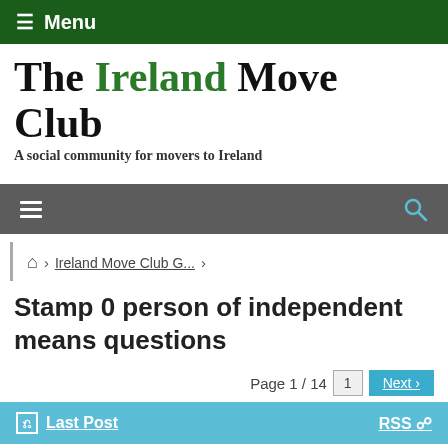≡ Menu
The Ireland Move Club
A social community for movers to Ireland
[Figure (other): Gray navigation bar with hamburger menu icon on left and search icon on right]
🏠 > Ireland Move Club G... >
Stamp 0 person of independent means questions
Page 1 / 14   1   Next ›
↵ Last Post   RSS